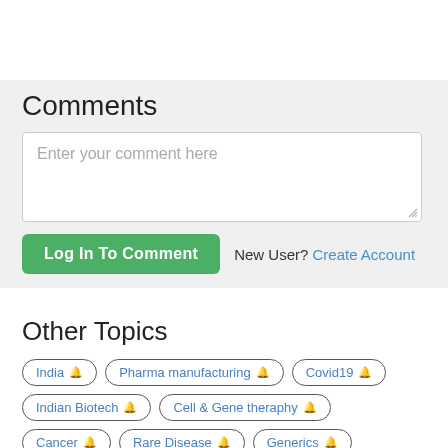Comments
[Figure (screenshot): Comment input text area with placeholder text 'Enter your comment here']
Log In To Comment  New User? Create Account
Other Topics
India
Pharma manufacturing
Covid19
Indian Biotech
Cell & Gene theraphy
Cancer
Rare Disease
Generics
Patients Care
Medtech
Drugs
innovations
BioSupplier
Biotech
HealthCare IT
Bio Start Ups
Bio Asia
Vaccines